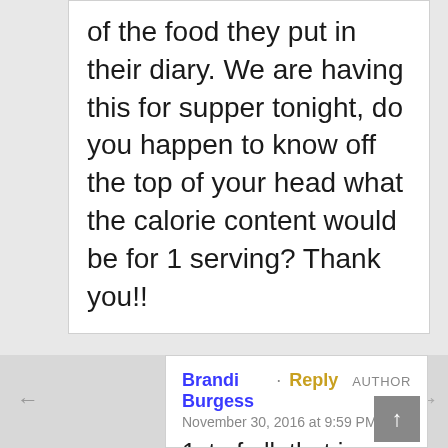of the food they put in their diary. We are having this for supper tonight, do you happen to know off the top of your head what the calorie content would be for 1 serving? Thank you!!
Brandi Burgess · Reply  AUTHOR
November 30, 2016 at 9:59 PM
1st of all, that is such a cool project for them to do for school! I am so sorry, but I have never tallied the nutritional information for this. We just like it because it tastes good ;-) If you figure out the calories or the rest of the nutritional info, would you